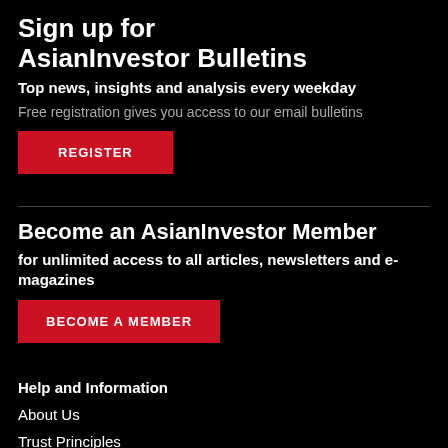Sign up for AsianInvestor Bulletins
Top news, insights and analysis every weekday
Free registration gives you access to our email bulletins
REGISTER
Become an AsianInvestor Member
for unlimited access to all articles, newsletters and e-magazines
BECOME A MEMBER
Help and Information
About Us
Trust Principles
Feedback
Newsletter Archive